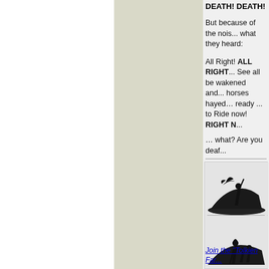DEATH! DEATH!
But because of the nois... what they heard:
All Right! ALL RIGHT... See all be wakened and... horses hayed… ready ... to Ride now! RIGHT N...
… what? Are you deaf...
[Figure (illustration): Two silhouette panels: top panel shows a figure with a sword and a bird/eagle silhouette on a rocky outcrop; bottom panel shows a wizard and shorter figure silhouettes on a rocky outcrop.]
We h...
Join the "Tolkien Far...